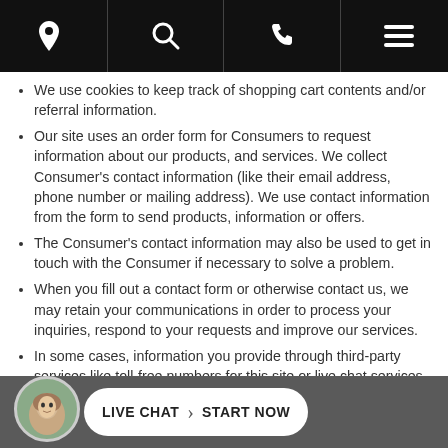Navigation bar with location, search, phone, and menu icons
We use cookies to keep track of shopping cart contents and/or referral information.
Our site uses an order form for Consumers to request information about our products, and services. We collect Consumer's contact information (like their email address, phone number or mailing address). We use contact information from the form to send products, information or offers.
The Consumer's contact information may also be used to get in touch with the Consumer if necessary to solve a problem.
When you fill out a contact form or otherwise contact us, we may retain your communications in order to process your inquiries, respond to your requests and improve our services.
In some cases, information you provide through third-party services like toll-free numbers for this site or live chat services may be retained in order to process your inquiries, respond to your requests and improve our services. By using these
LIVE CHAT › START NOW